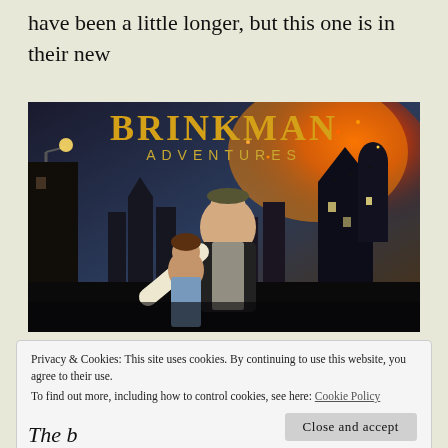have been a little longer, but this one is in their new 6-episode release structure.
[Figure (illustration): Brinkman Adventures promotional image showing a teenage boy and a younger child in a dark wartime European city street scene with fires and aircraft in the background. Gold text reads 'BRINKMAN ADVENTURES' at the top.]
Privacy & Cookies: This site uses cookies. By continuing to use this website, you agree to their use.
To find out more, including how to control cookies, see here: Cookie Policy
Close and accept
The b